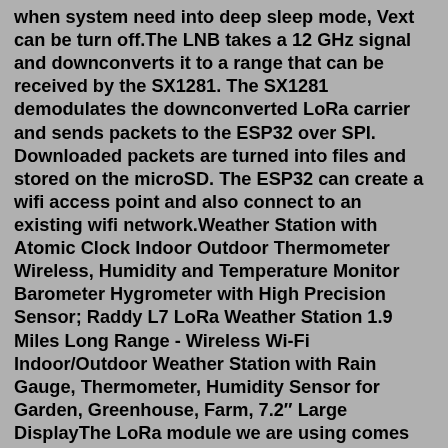when system need into deep sleep mode, Vext can be turn off.The LNB takes a 12 GHz signal and downconverts it to a range that can be received by the SX1281. The SX1281 demodulates the downconverted LoRa carrier and sends packets to the ESP32 over SPI. Downloaded packets are turned into files and stored on the microSD. The ESP32 can create a wifi access point and also connect to an existing wifi network.Weather Station with Atomic Clock Indoor Outdoor Thermometer Wireless, Humidity and Temperature Monitor Barometer Hygrometer with High Precision Sensor; Raddy L7 LoRa Weather Station 1.9 Miles Long Range - Wireless Wi-Fi Indoor/Outdoor Weather Station with Rain Gauge, Thermometer, Humidity Sensor for Garden, Greenhouse, Farm, 7.2″ Large DisplayThe LoRa module we are using comes pre-configured to use the specific frequency of 915MHz. This UHF frequency is part of the Industrial, Scientific and Medical band, often simply referred to as the ISM band. This is an